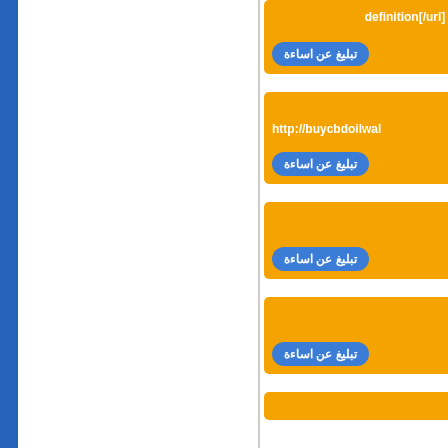[Figure (screenshot): Web forum page showing a left white panel with blue left border, and a right column of orange cards. Each orange card contains Arabic text and a blue rounded button labeled 'تبليغ عن اساءة'. The first card shows 'definition[/url] h', the second shows 'http://buycbdoilwal', and subsequent cards are empty orange panels each with a report button.]
definition[/url] h
تبليغ عن اساءة
http://buycbdoilwal
تبليغ عن اساءة
تبليغ عن اساءة
تبليغ عن اساءة
تبليغ عن اساءة